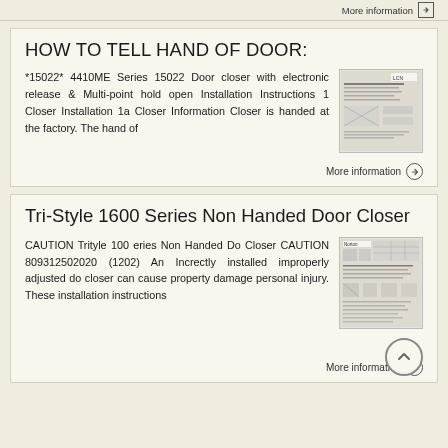More information →
HOW TO TELL HAND OF DOOR:
*15022* 4410ME Series 15022 Door closer with electronic release & Multi-point hold open Installation Instructions 1 Closer Installation 1a Closer Information Closer is handed at the factory. The hand of
[Figure (illustration): Thumbnail image of LCN door closer installation instructions document]
More information →
Tri-Style 1600 Series Non Handed Door Closer
CAUTION Trityle 100 eries Non Handed Do Closer CAUTION 809312502020 (1202) An Increctly installed improperly adjusted do closer can cause property damage personal injury. These installation instructions
[Figure (illustration): Thumbnail image of Norton Tri-Style door closer installation instructions document]
More information →